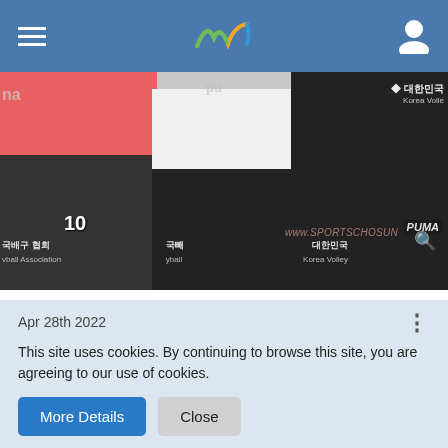Navigation header with hamburger menu, logo, and user icon
[Figure (photo): Three female volleyball players in black shorts standing in front of Korea Volleyball Association banners with Puma branding. Photo watermarked www.sportschosun.com]
theloneracer, VolleyOrange and ian3373 like this.
Kofudakji
Intermediate
Apr 28th 2022
This site uses cookies. By continuing to browse this site, you are agreeing to our use of cookies.